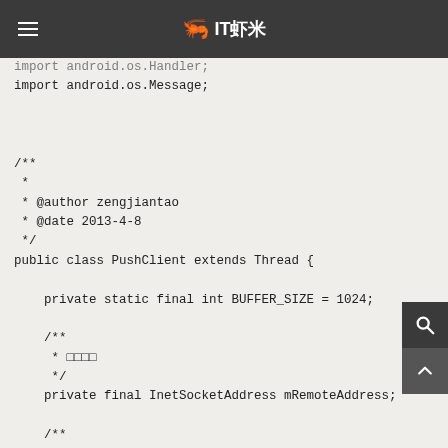IT虾米
import android.os.Handler;
import android.os.Message;


/**
 * 
 * @author zengjiantao
 * @date 2013-4-8
 */
public class PushClient extends Thread {

    private static final int BUFFER_SIZE = 1024;

    /**
     * 服务器地址
     */
    private final InetSocketAddress mRemoteAddress;

    /**
     * Socket通道
     */
    private SocketChannel mSocketChannel;